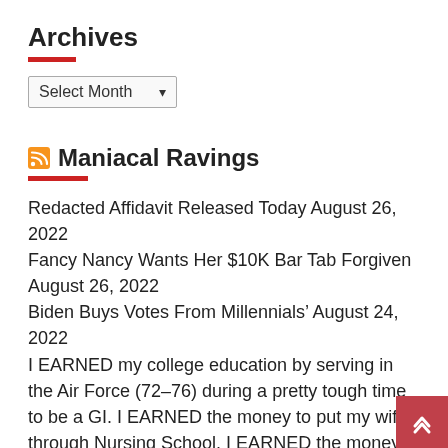Archives
Select Month
Maniacal Ravings
Redacted Affidavit Released Today August 26, 2022
Fancy Nancy Wants Her $10K Bar Tab Forgiven August 26, 2022
Biden Buys Votes From Millennials' August 24, 2022
I EARNED my college education by serving in the Air Force (72-76) during a pretty tough time to be a GI. I EARNED the money to put my wife through Nursing School. I EARNED the money for one daughter to spend five years at Baylor. I EARNED the money four
Fuck Biden Swag August 24, 2022